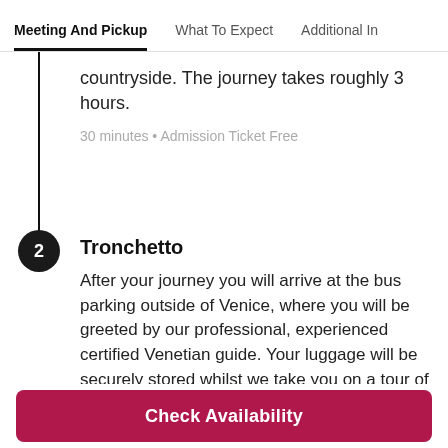Meeting And Pickup | What To Expect | Additional I...
countryside. The journey takes roughly 3 hours.
30 minutes • Admission Ticket Free
Tronchetto
After your journey you will arrive at the bus parking outside of Venice, where you will be greeted by our professional, experienced certified Venetian guide. Your luggage will be securely stored whilst we take you on a tour of this fairy-like city and its stunning canals. Yo
Read more
Check Availability